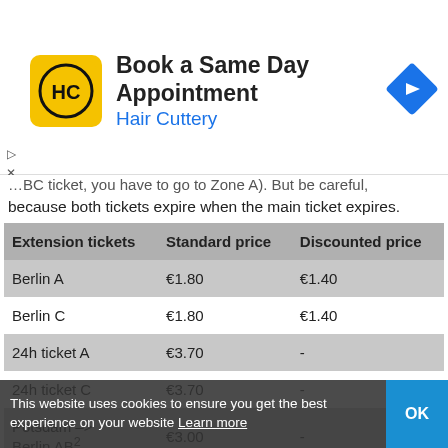[Figure (screenshot): Hair Cuttery advertisement banner: yellow square logo with HC letters, text 'Book a Same Day Appointment' and 'Hair Cuttery' in blue, blue navigation arrow icon on right]
...BC ticket, you have to go to Zone A). But be careful, because both tickets expire when the main ticket expires.
| Extension tickets | Standard price | Discounted price |
| --- | --- | --- |
| Berlin A | €1.80 | €1.40 |
| Berlin C | €1.80 | €1.40 |
| 24h ticket A | €3.70 | - |
| 24h ticket C | €3.70 | - |
| Potsdam –> Berlin AB² | €3.00 | - |
Other tickets
Th...relevant fo tourists.
This website uses cookies to ensure you get the best experience on our website Learn more